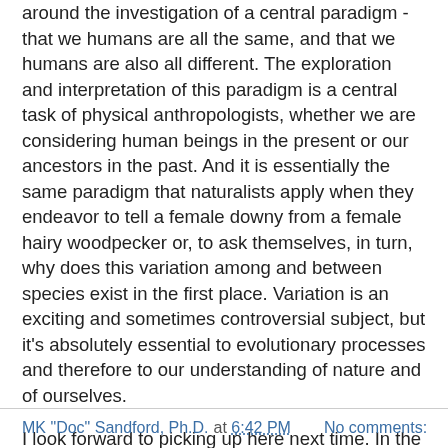around the investigation of a central paradigm - that we humans are all the same, and that we humans are also all different. The exploration and interpretation of this paradigm is a central task of physical anthropologists, whether we are considering human beings in the present or our ancestors in the past. And it is essentially the same paradigm that naturalists apply when they endeavor to tell a female downy from a female hairy woodpecker or, to ask themselves, in turn, why does this variation among and between species exist in the first place. Variation is an exciting and sometimes controversial subject, but it's absolutely essential to evolutionary processes and therefore to our understanding of nature and of ourselves.
I look forward to picking up here next time. In the meantime, learn this name: Ernst Mayr. That's it for now. Class dismissed.
MK "Doc" Sandford, Ph.D. at 6:42 PM    No comments: